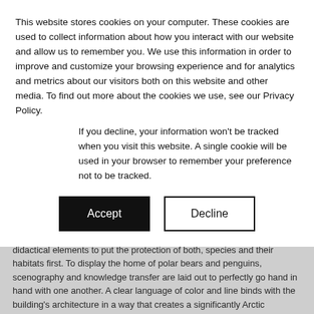This website stores cookies on your computer. These cookies are used to collect information about how you interact with our website and allow us to remember you. We use this information in order to improve and customize your browsing experience and for analytics and metrics about our visitors both on this website and other media. To find out more about the cookies we use, see our Privacy Policy.
If you decline, your information won't be tracked when you visit this website. A single cookie will be used in your browser to remember your preference not to be tracked.
[Figure (other): Two buttons side by side: a black 'Accept' button and a white 'Decline' button with black border]
themed world POLARIUM enriches Rostock Zoo, by allowing it's visitors to plunge into the unique and fascinating world of the polar regions. Within the themed world, dan pearlman designed the POLARIUM exhibition that builds on an overall design concept and uses various didactical elements to put the protection of both, species and their habitats first. To display the home of polar bears and penguins, scenography and knowledge transfer are laid out to perfectly go hand in hand with one another. A clear language of color and line binds with the building's architecture in a way that creates a significantly Arctic atmosphere in the new visitor center. By doing so,